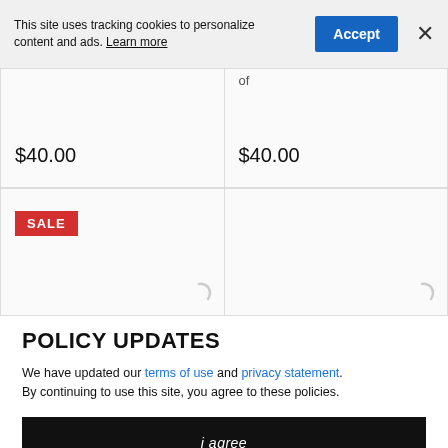This site uses tracking cookies to personalize content and ads. Learn more
$40.00
$40.00
[Figure (other): SALE badge on product card]
POLICY UPDATES
We have updated our terms of use and privacy statement. By continuing to use this site, you agree to these policies.
i agree